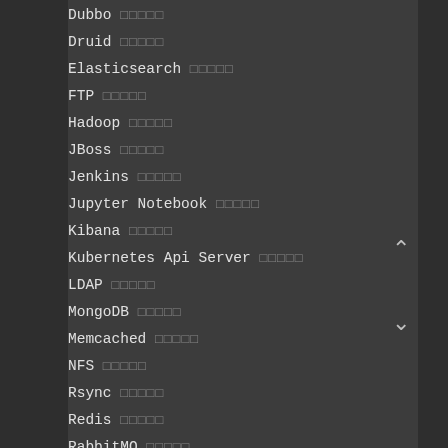Dubbo □□□□□
Druid □□□□□
Elasticsearch □□□□□
FTP □□□□□
Hadoop □□□□□
JBoss □□□□□
Jenkins □□□□□
Jupyter Notebook □□□□□
Kibana □□□□□
Kubernetes Api Server □□□□□
LDAP □□□□□
MongoDB □□□□□
Memcached □□□□□
NFS □□□□□
Rsync □□□□□
Redis □□□□□
RabbitMQ □□□□□
Solr □□□□□
Spring Boot Actuator □□□□□
Spark □□□□□